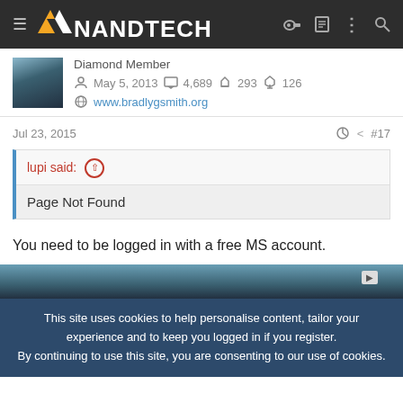AnandTech
Diamond Member
May 5, 2013  4,689  293  126
www.bradlygsmith.org
Jul 23, 2015  #17
lupi said:
Page Not Found
You need to be logged in with a free MS account.
This site uses cookies to help personalise content, tailor your experience and to keep you logged in if you register.
By continuing to use this site, you are consenting to our use of cookies.